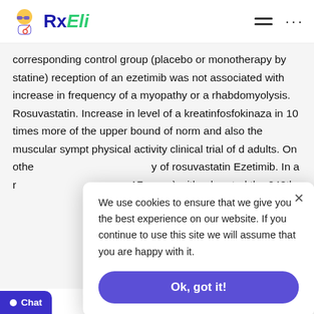RxEli
corresponding control group (placebo or monotherapy by statine) reception of an ezetimib was not associated with increase in frequency of a myopathy or a rhabdomyolysis. Rosuvastatin. Increase in level of a kreatinfosfokinaza in 10 times more of the upper bound of norm and also the muscular sympt... physical activity... clinical trial of c... adults. On othe... y of rosuvastatin... Ezetimib. In a re... 17 years) with a he... noted the 248th...
We use cookies to ensure that we give you the best experience on our website. If you continue to use this site we will assume that you are happy with it.
Ok, got it!
plant (≥3 VGN) at 3% of patients (4 persons)